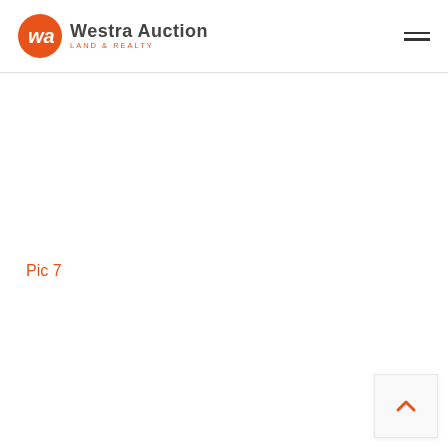[Figure (logo): Westra Auction Land & Realty logo: orange circle with stylized 'wa' initials, followed by 'Westra Auction' in bold dark text and 'LAND & REALTY' in orange small caps]
Pic 7
[Figure (other): Back to top button with orange chevron/caret pointing upward]